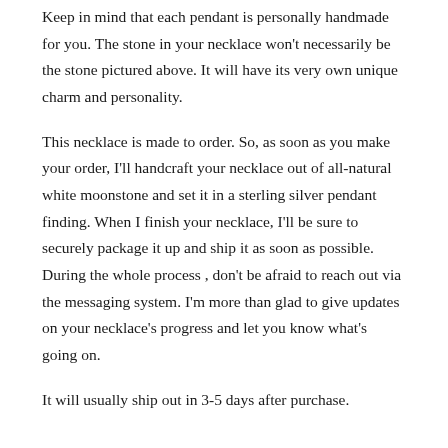Keep in mind that each pendant is personally handmade for you. The stone in your necklace won't necessarily be the stone pictured above. It will have its very own unique charm and personality.
This necklace is made to order. So, as soon as you make your order, I'll handcraft your necklace out of all-natural white moonstone and set it in a sterling silver pendant finding. When I finish your necklace, I'll be sure to securely package it up and ship it as soon as possible. During the whole process , don't be afraid to reach out via the messaging system. I'm more than glad to give updates on your necklace's progress and let you know what's going on.
It will usually ship out in 3-5 days after purchase.